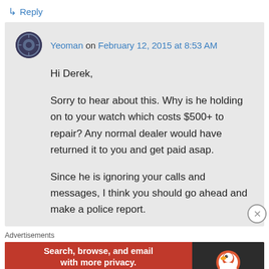↳ Reply
Yeoman on February 12, 2015 at 8:53 AM
Hi Derek,

Sorry to hear about this. Why is he holding on to your watch which costs $500+ to repair? Any normal dealer would have returned it to you and get paid asap.

Since he is ignoring your calls and messages, I think you should go ahead and make a police report.
Advertisements
[Figure (screenshot): DuckDuckGo advertisement banner: 'Search, browse, and email with more privacy. All in One Free App' with DuckDuckGo logo on dark right panel.]